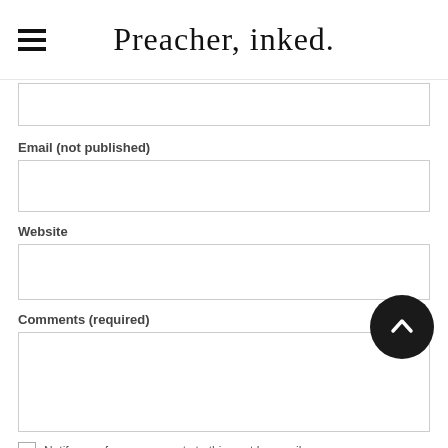Preacher, inked.
Email (not published)
Website
Comments (required)
Notify me of new comments to this post by email